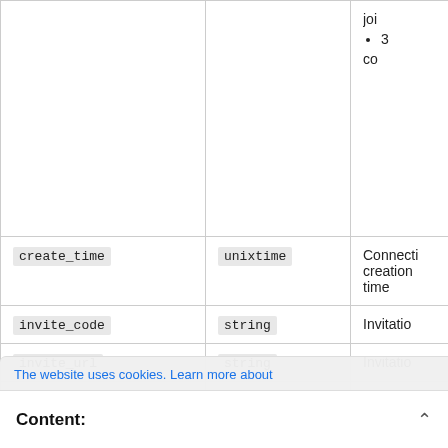| Field | Type | Description |
| --- | --- | --- |
|  |  | joi
• 3
co |
| create_time | unixtime | Connection creation time |
| invite_code | string | Invitatio |
| invite_url | string | Invitatio |
| connect_url | string | Operator connecti |
| client_name | string | Client na |
| client_os | string | Operating system, R |
The website uses cookies. Learn more about
Content: